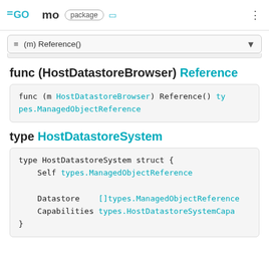GO mo package
≡ (m) Reference()
func (HostDatastoreBrowser) Reference
func (m HostDatastoreBrowser) Reference() types.ManagedObjectReference
type HostDatastoreSystem
type HostDatastoreSystem struct {
    Self types.ManagedObjectReference

    Datastore    []types.ManagedObjectReference
    Capabilities types.HostDatastoreSystemCapa
}